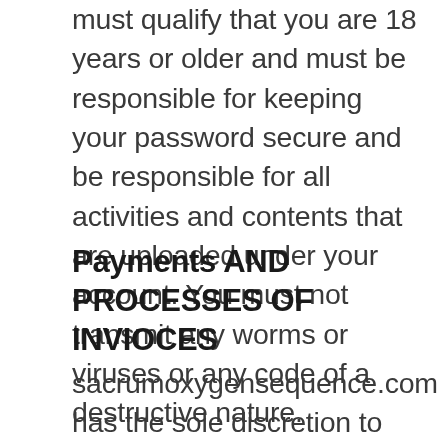must qualify that you are 18 years or older and must be responsible for keeping your password secure and be responsible for all activities and contents that are uploaded under your account. You must not transmit any worms or viruses or any code of a destructive nature.
Payments AND PROCESSES OF INVIOCES
sacrumoxygensequence.com has the sole discretion to provide the terms of payment. Unless otherwise agreed, payment must first be received by